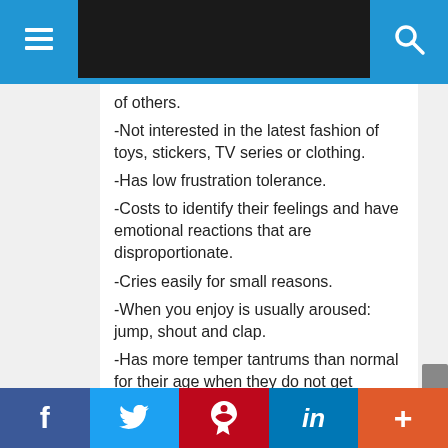Navigation bar with menu and search
of others.
-Not interested in the latest fashion of toys, stickers, TV series or clothing.
-Has low frustration tolerance.
-Costs to identify their feelings and have emotional reactions that are disproportionate.
-Cries easily for small reasons.
-When you enjoy is usually aroused: jump, shout and clap.
-Has more temper tantrums than normal for their age when they do not get something.
-Lacks empathy: to understand intuitively the feelings of another person.
-You can make offensive comments to
Social sharing bar: Facebook, Twitter, Pinterest, LinkedIn, More